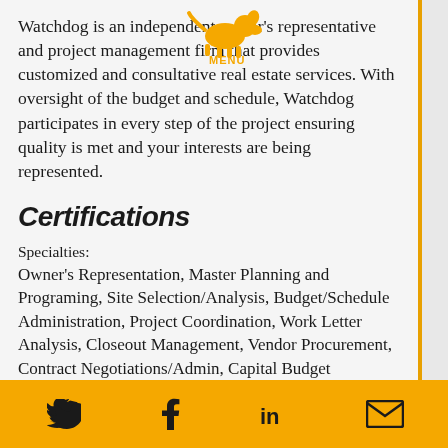Watchdog is an independent owner's representative and project management firm that provides customized and consultative real estate services. With oversight of the budget and schedule, Watchdog participates in every step of the project ensuring quality is met and your interests are being represented.
Certifications
Specialties:
Owner's Representation, Master Planning and Programing, Site Selection/Analysis, Budget/Schedule Administration, Project Coordination, Work Letter Analysis, Closeout Management, Vendor Procurement, Contract Negotiations/Admin, Capital Budget
Twitter | Facebook | LinkedIn | Email